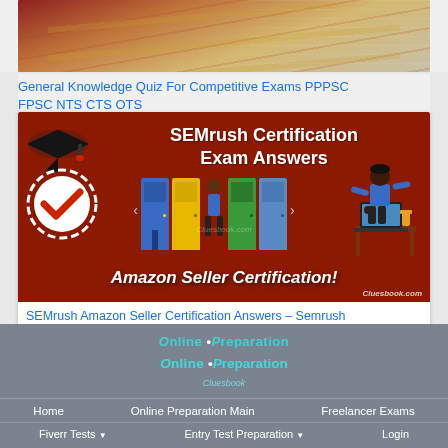[Figure (photo): Photo of pencils on an exam answer sheet (multiple choice bubbles)]
General Knowledge Quiz For Competitive Exams PPPSC FPSC NTS CTS OTS
[Figure (illustration): SEMrush Certification Exam Answers banner with graduation cap, check badge, doors with person, student at laptop, and Amazon Seller Certification text. Dark red/brown background. Cluesbook.com watermark.]
SEMrush Amazon Seller Certification Answers – Semrush Amazon Seller Certification Exam, Course Answers
[Figure (logo): Online Preparation Cluesbook logo in teal/cyan text]
Home
Online Preparation Main
Freelancer Exams
Fiverr Tests ▼
Entry Test Preparation ▼
Login